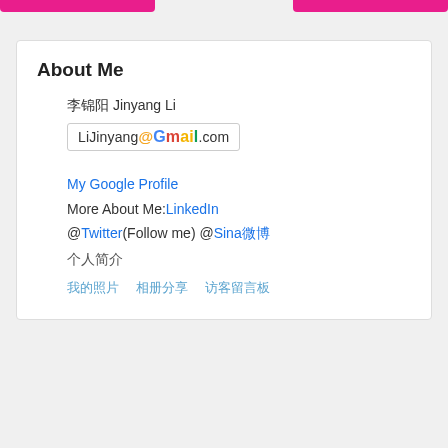About Me
李锦阳 Jinyang Li
[Figure (other): Gmail email address badge: LiJinyang@Gmail.com with colorful Gmail logo]
My Google Profile
More About Me:LinkedIn
@Twitter(Follow me) @Sina微博
个人简介
我的照片  相册分享  访客留言板